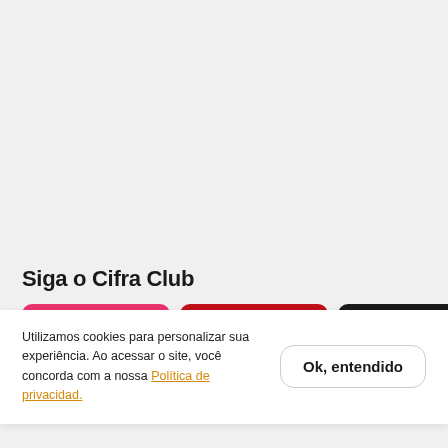[Figure (other): Empty light gray top area of a website screenshot]
Siga o Cifra Club
[Figure (other): Three social media buttons: pink button, red button, and dark/black button]
Utilizamos cookies para personalizar sua experiência. Ao acessar o site, você concorda com a nossa Política de privacidad.
Ok, entendido
Canciones
Participe